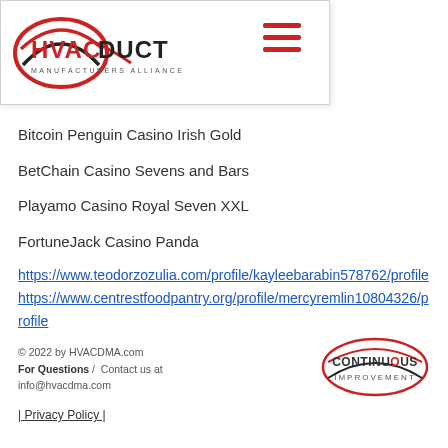[Figure (logo): HVAC Duct Manufacturers Alliance logo with red and dark oval swoosh and text]
Bitcoin Penguin Casino Irish Gold
BetChain Casino Sevens and Bars
Playamo Casino Royal Seven XXL
FortuneJack Casino Panda
https://www.teodorzozulia.com/profile/kayleebarabin578762/profile
https://www.centrestfoodpantry.org/profile/mercyremlin10804326/profile
https://www.cafetal97.com/profile/kristelkolkemeyer1702650/profile
https://www.thomascountycommunityfoundation.com/profile/budbroody13681768/profile
© 2022 by HVACDMA.com
For Questions / Contact us at info@hvacdma.com
| Privacy Policy |